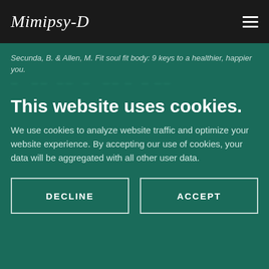Mimipsy-D
Secunda, B. & Allen, M. Fit soul fit body: 9 keys to a healthier, happier you.
[obscured/blurred line of text]
This website uses cookies.
We use cookies to analyze website traffic and optimize your website experience. By accepting our use of cookies, your data will be aggregated with all other user data.
DECLINE
ACCEPT